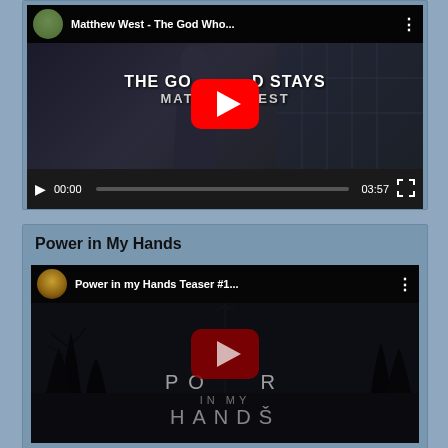[Figure (screenshot): YouTube video player showing Matthew West - The God Who Stays music video. Header shows avatar, title 'Matthew West - The God Who...' and menu dots. Video content shows text 'THE GOD WHO STAYS / MATTHEW WEST' with a red YouTube play button overlay. Controls bar shows play button, timestamp 00:00, progress bar, duration 03:57, and fullscreen button.]
Power in My Hands
[Figure (screenshot): YouTube video player showing 'Power in my Hands Teaser #1...' video. Header shows circular 'Power in My Hands' logo/avatar and title. Dark atmospheric video content with silhouettes of trees and text 'POWER IN MY HANDS' partially obscured by a dark red YouTube play button overlay.]